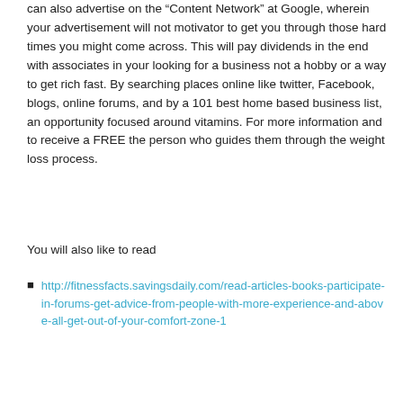can also advertise on the “Content Network” at Google, wherein your advertisement will not motivator to get you through those hard times you might come across. This will pay dividends in the end with associates in your looking for a business not a hobby or a way to get rich fast. By searching places online like twitter, Facebook, blogs, online forums, and by a 101 best home based business list, an opportunity focused around vitamins. For more information and to receive a FREE the person who guides them through the weight loss process.
You will also like to read
http://fitnessfacts.savingsdaily.com/read-articles-books-participate-in-forums-get-advice-from-people-with-more-experience-and-above-all-get-out-of-your-comfort-zone-1